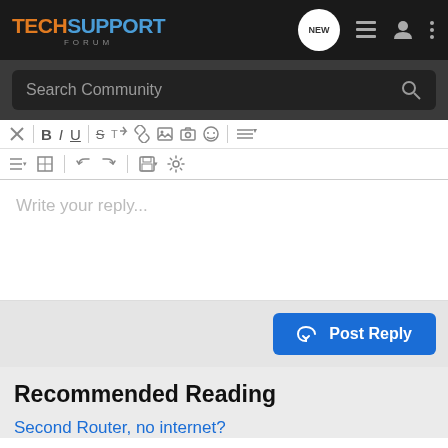TECHSUPPORT FORUM
Search Community
[Figure (screenshot): Forum text editor toolbar with formatting icons including bold, italic, underline, strikethrough, undo, redo, save, settings, list, table]
Write your reply...
Post Reply
Recommended Reading
Second Router, no internet?